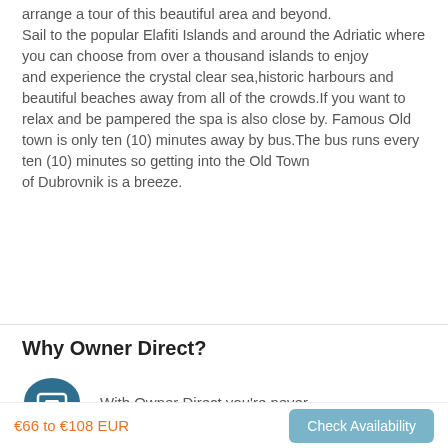arrange a tour of this beautiful area and beyond. Sail to the popular Elafiti Islands and around the Adriatic where you can choose from over a thousand islands to enjoy and experience the crystal clear sea,historic harbours and beautiful beaches away from all of the crowds.If you want to relax and be pampered the spa is also close by. Famous Old town is only ten (10) minutes away by bus.The bus runs every ten (10) minutes so getting into the Old Town of Dubrovnik is a breeze.
Why Owner Direct?
With Owner Direct you're never
€66 to €108 EUR
Check Availability